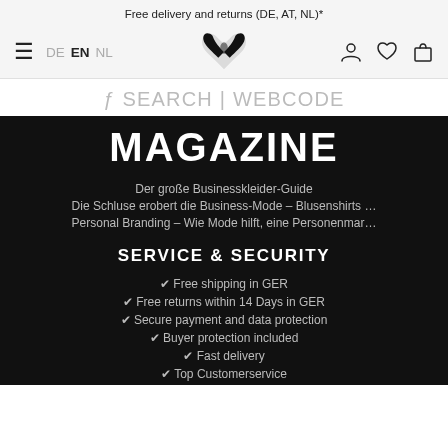Free delivery and returns (DE, AT, NL)*
[Figure (screenshot): Navigation bar with hamburger menu, language selector (DE EN NL), heart-shaped logo, user icon, wishlist icon, and shopping bag icon]
fl SEARCH | WEBCODE
MAGAZINE
Der große Businesskleider-Guide
Die Schluse erobert die Business-Mode – Blusenshirts …
Personal Branding – Wie Mode hilft, eine Personenmar…
SERVICE & SECURITY
✔ Free shipping in GER
✔ Free returns within 14 Days in GER
✔ Secure payment and data protection
✔ Buyer protection included
✔ Fast delivery
✔ Top Customerservice